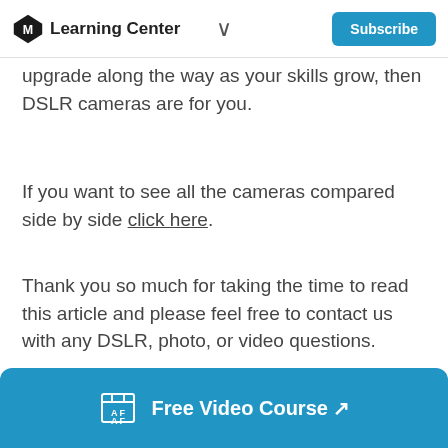Learning Center
upgrade along the way as your skills grow, then DSLR cameras are for you.
If you want to see all the cameras compared side by side click here.
Thank you so much for taking the time to read this article and please feel free to contact us with any DSLR, photo, or video questions.
Free Video Course ↗